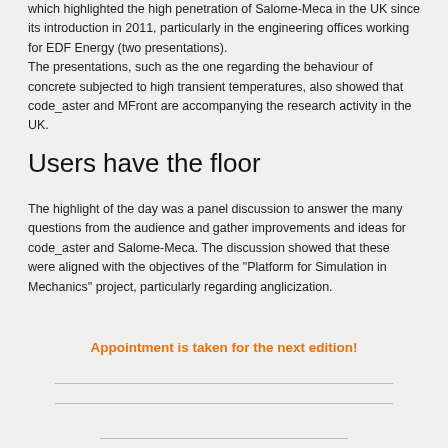which highlighted the high penetration of Salome-Meca in the UK since its introduction in 2011, particularly in the engineering offices working for EDF Energy (two presentations).
The presentations, such as the one regarding the behaviour of concrete subjected to high transient temperatures, also showed that code_aster and MFront are accompanying the research activity in the UK.
Users have the floor
The highlight of the day was a panel discussion to answer the many questions from the audience and gather improvements and ideas for code_aster and Salome-Meca. The discussion showed that these were aligned with the objectives of the "Platform for Simulation in Mechanics" project, particularly regarding anglicization.
Appointment is taken for the next edition!